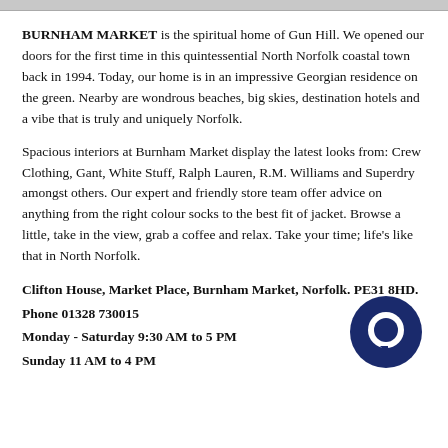[Figure (other): Top banner/header image strip (greyed out, partially visible at top of page)]
BURNHAM MARKET is the spiritual home of Gun Hill. We opened our doors for the first time in this quintessential North Norfolk coastal town back in 1994. Today, our home is in an impressive Georgian residence on the green. Nearby are wondrous beaches, big skies, destination hotels and a vibe that is truly and uniquely Norfolk.
Spacious interiors at Burnham Market display the latest looks from: Crew Clothing, Gant, White Stuff, Ralph Lauren, R.M. Williams and Superdry amongst others. Our expert and friendly store team offer advice on anything from the right colour socks to the best fit of jacket. Browse a little, take in the view, grab a coffee and relax. Take your time; life's like that in North Norfolk.
Clifton House, Market Place, Burnham Market, Norfolk. PE31 8HD.
Phone 01328 730015
Monday - Saturday 9:30 AM to 5 PM
Sunday 11 AM to 4 PM
[Figure (logo): Dark navy blue circular chat/message bubble icon]